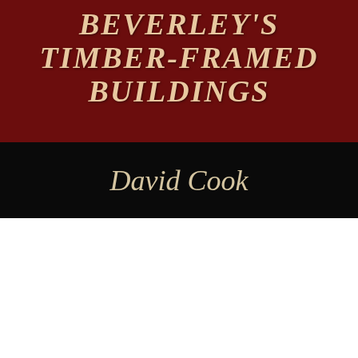[Figure (illustration): Book cover for 'Beverley's Timber-Framed Buildings' by David Cook. Dark red background with italic gold/cream title text at top, black band with author name in italic script below.]
[Figure (illustration): Book cover for 'British Historical Documents' by Alan Avery. Navy blue header with gold title text, subtitle '325 B.C. to 2000 A.D.', oil painting of a Victorian gentleman seated in a study with bookshelves, gray footer band with author name.]